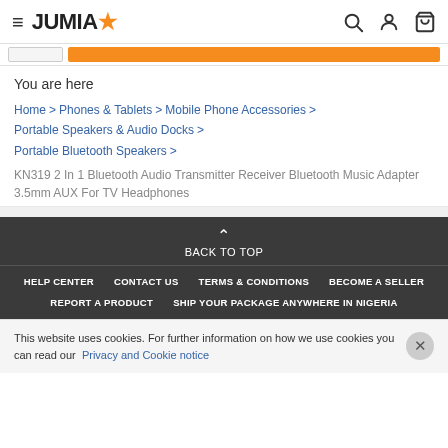JUMIA
You are here
Home > Phones & Tablets > Mobile Phone Accessories > Portable Speakers & Audio Docks > Portable Bluetooth Speakers >
KN319 2 In 1 Bluetooth Audio Transmitter Receiver Bluetooth Music Adapter 3.5mm AUX For TV Headphones
BACK TO TOP | HELP CENTER | CONTACT US | TERMS & CONDITIONS | BECOME A SELLER | REPORT A PRODUCT | SHIP YOUR PACKAGE ANYWHERE IN NIGERIA
This website uses cookies. For further information on how we use cookies you can read our Privacy and Cookie notice